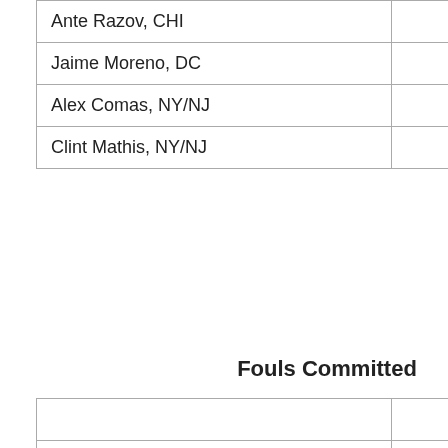|  | Gm | No |
| --- | --- | --- |
| Ante Razov, CHI | 24 | 1 |
| Jaime Moreno, DC | 25 | 1 |
| Alex Comas, NY/NJ | 25 | 1 |
| Clint Mathis, NY/NJ | 29 | 1 |
Fouls Committed
|  | Gm | No |
| --- | --- | --- |
| Diego Serna, MIA | 31 | 83 |
| Chris Henderson, KC | 31 | 79 |
| Carey Talley, DC | 29 | 76 |
| Matt McKeon, KC | 30 | 75 |
| Mamadou Diallo, TB | 28 | 74 |
| Chris Martinez, COL | 30 | 72 |